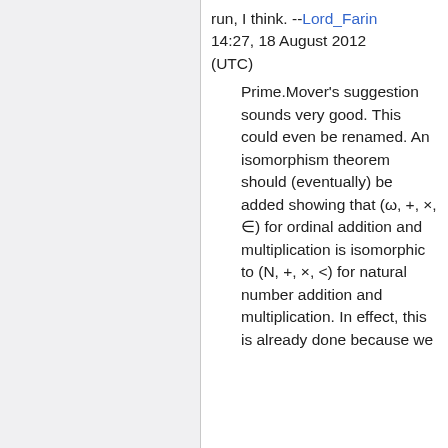run, I think. --Lord_Farin 14:27, 18 August 2012 (UTC)
Prime.Mover's suggestion sounds very good. This could even be renamed. An isomorphism theorem should (eventually) be added showing that (ω, +, ×, ∈) for ordinal addition and multiplication is isomorphic to (N, +, ×, <) for natural number addition and multiplication. In effect, this is already done because we